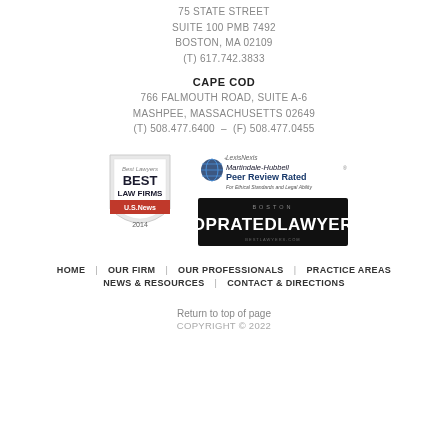75 STATE STREET
SUITE 100 PMB 7492
BOSTON, MA 02109
(T) 617.742.3833
CAPE COD
766 FALMOUTH ROAD, SUITE A-6
MASHPEE, MASSACHUSETTS 02649
(T) 508.477.6400  –  (F) 508.477.0455
[Figure (logo): Best Lawyers Best Law Firms U.S. News 2014 badge]
[Figure (logo): LexisNexis Martindale-Hubbell Peer Review Rated For Ethical Standards and Legal Ability logo]
[Figure (logo): Boston Top Rated Lawyers badge]
HOME   OUR FIRM   OUR PROFESSIONALS   PRACTICE AREAS
NEWS & RESOURCES   CONTACT & DIRECTIONS
Return to top of page
COPYRIGHT © 2022